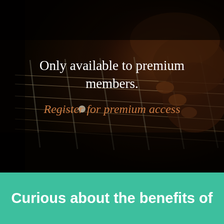[Figure (photo): Dark photograph of a hand playing guitar strings on a fretboard, with dimly lit strings and frets visible. The image has a dark, moody tone with warm brown highlights where the hand rests on the strings.]
Only available to premium members.
Register for premium access
Curious about the benefits of